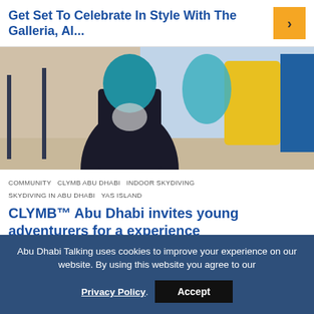Get Set To Celebrate In Style With The Galleria, Al...
[Figure (photo): Person wearing a black outfit with a blue/teal face covering in an indoor setting with yellow and blue elements in the background, likely a skydiving facility.]
COMMUNITY   CLYMB ABU DHABI   INDOOR SKYDIVING   SKYDIVING IN ABU DHABI   YAS ISLAND
CLYMB™ Abu Dhabi invites young adventurers for a experience
3 days ago
Abu Dhabi Talking uses cookies to improve your experience on our website. By using this website you agree to our Privacy Policy. Accept